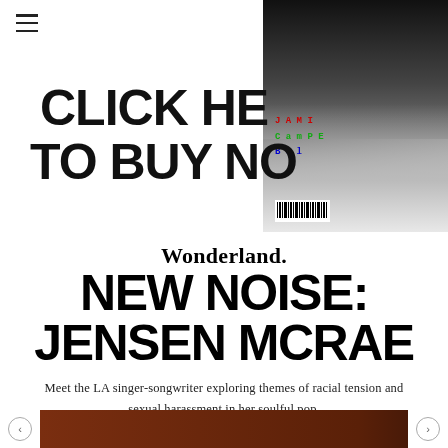Navigation menu and search icon
[Figure (photo): Magazine cover advertisement with text 'CLICK HERE TO BUY NOW' overlaid on a fashion magazine cover showing a model in high boots, with collage-style lettering]
Wonderland.
NEW NOISE: JENSEN MCRAE
Meet the LA singer-songwriter exploring themes of racial tension and sexual harassment in her soulful pop.
[Figure (photo): Bottom strip showing a partial image with brown/reddish tones, with left and right navigation arrows]